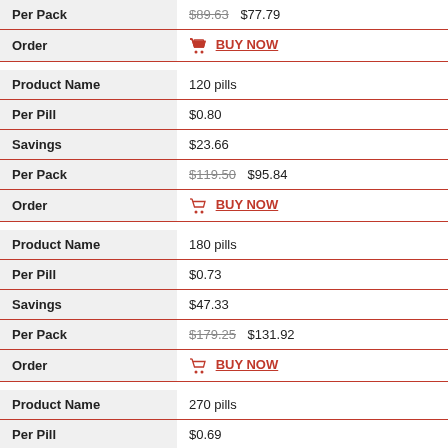| Per Pack | $89.63  $77.79 |
| Order | BUY NOW |
| Product Name | 120 pills |
| Per Pill | $0.80 |
| Savings | $23.66 |
| Per Pack | $119.50  $95.84 |
| Order | BUY NOW |
| Product Name | 180 pills |
| Per Pill | $0.73 |
| Savings | $47.33 |
| Per Pack | $179.25  $131.92 |
| Order | BUY NOW |
| Product Name | 270 pills |
| Per Pill | $0.69 |